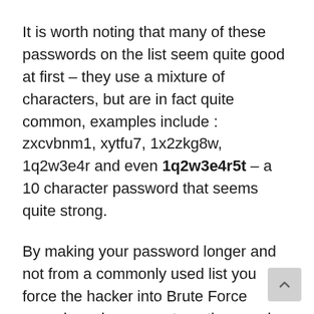It is worth noting that many of these passwords on the list seem quite good at first – they use a mixture of characters, but are in fact quite common, examples include : zxcvbnm1, xytfu7, 1x2zkg8w, 1q2w3e4r and even 1q2w3e4r5t – a 10 character password that seems quite strong.
By making your password longer and not from a commonly used list you force the hacker into Brute Force guessing – here a systematic guessing process will take place based on character combinations of increasing length. It is likely to start with lowercase and numbers as these are the most likely to be used.